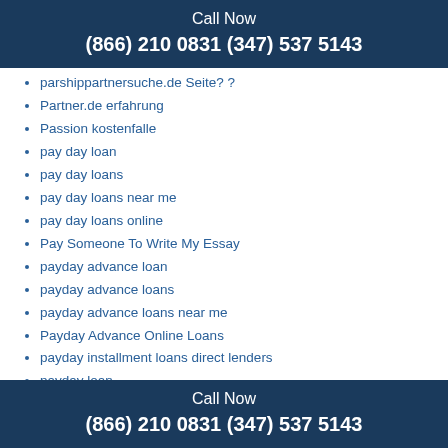Call Now
(866) 210 0831 (347) 537 5143
parshippartnersuche.de Seite? ?
Partner.de erfahrung
Passion kostenfalle
pay day loan
pay day loans
pay day loans near me
pay day loans online
Pay Someone To Write My Essay
payday advance loan
payday advance loans
payday advance loans near me
Payday Advance Online Loans
payday installment loans direct lenders
payday loan
payday loan app
Payday Loan Consolidation Massachusetts
Payday Loan Delaware
Call Now
(866) 210 0831 (347) 537 5143